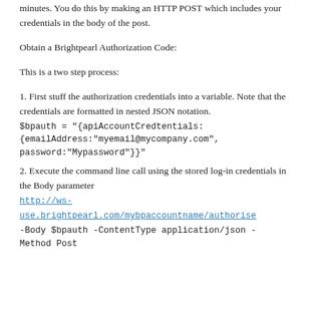minutes. You do this by making an HTTP POST which includes your credentials in the body of the post.
Obtain a Brightpearl Authorization Code:
This is a two step process:
1. First stuff the authorization credentials into a variable. Note that the credentials are formatted in nested JSON notation.
$bpauth = "{apiAccountCredtentials:{emailAddress:"myemail@mycompany.com",password:"Mypassword"}}"
2. Execute the command line call using the stored log-in credentials in the Body parameter
http://ws-use.brightpearl.com/mybpaccountname/authorise -Body $bpauth -ContentType application/json -Method Post